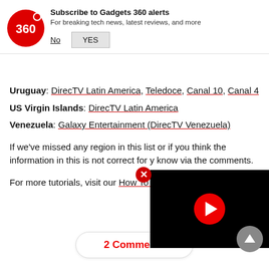[Figure (logo): Gadgets 360 logo with red circle and '360' text]
Subscribe to Gadgets 360 alerts
For breaking tech news, latest reviews, and more
Uruguay: DirecTV Latin America, Teledoce, Canal 10, Canal 4
US Virgin Islands: DirecTV Latin America
Venezuela: Galaxy Entertainment (DirecTV Venezuela)
If we've missed any region in this list or if you think the information in this is not correct for you, please let us know via the comments.
For more tutorials, visit our How To s
[Figure (screenshot): Black video player with red play button]
2 Comments